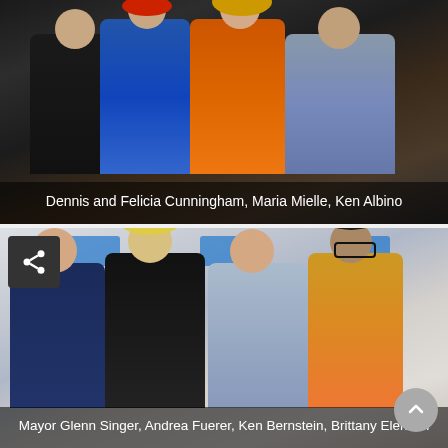[Figure (photo): Four people posing at an event: two men and two women. Woman in blue sequin dress, woman in orange dress.]
Dennis and Felicia Cunningham, Maria Mielle, Ken Albino
[Figure (photo): Four people posing at an event backdrop: two men and two women. Man in navy suit, woman with long blonde hair, man in gray suit, woman with dark hair and glasses.]
Mayor Glenn Singer, Andrea Fuerer, Ken Bernstein, Brittany Elenson